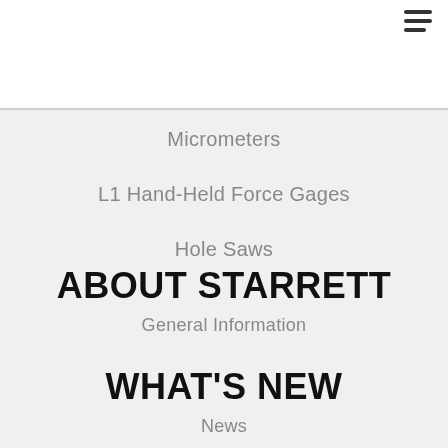[Figure (logo): Starrett red italic logo with registered trademark symbol]
HOLE INFORMATION
Micrometers
L1 Hand-Held Force Gages
Hole Saws
ABOUT STARRETT
General Information
WHAT'S NEW
News